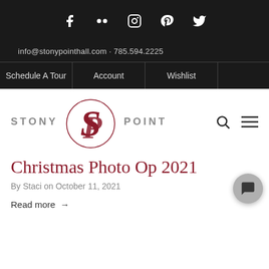[Figure (other): Social media icons row: Facebook, Flickr, Instagram, Pinterest, Twitter — white icons on dark background]
info@stonypointhall.com · 785.594.2225
Schedule A Tour
Account
Wishlist
[Figure (logo): Stony Point logo with ornate SP monogram in dark red, text STONY POINT in grey uppercase]
Christmas Photo Op 2021
By Staci on October 11, 2021
Read more →